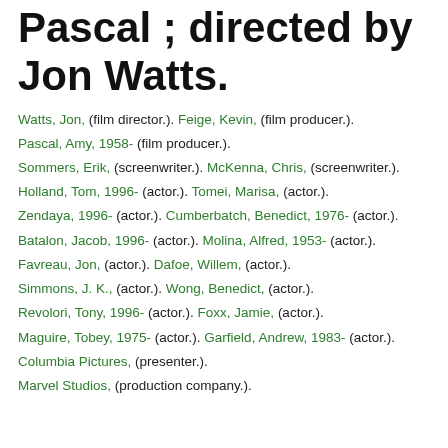Pascal ; directed by Jon Watts.
Watts, Jon, (film director.). Feige, Kevin, (film producer.).
Pascal, Amy, 1958- (film producer.).
Sommers, Erik, (screenwriter.). McKenna, Chris, (screenwriter.).
Holland, Tom, 1996- (actor.). Tomei, Marisa, (actor.).
Zendaya, 1996- (actor.). Cumberbatch, Benedict, 1976- (actor.).
Batalon, Jacob, 1996- (actor.). Molina, Alfred, 1953- (actor.).
Favreau, Jon, (actor.). Dafoe, Willem, (actor.).
Simmons, J. K., (actor.). Wong, Benedict, (actor.).
Revolori, Tony, 1996- (actor.). Foxx, Jamie, (actor.).
Maguire, Tobey, 1975- (actor.). Garfield, Andrew, 1983- (actor.).
Columbia Pictures, (presenter.).
Marvel Studios, (production company.).